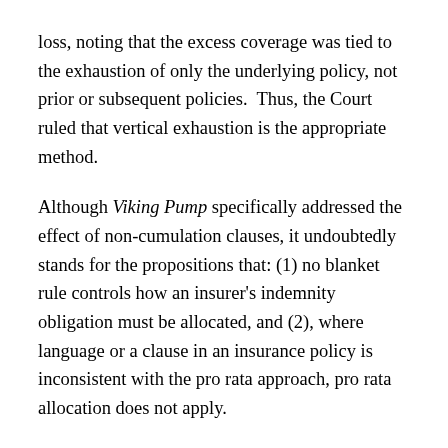loss, noting that the excess coverage was tied to the exhaustion of only the underlying policy, not prior or subsequent policies.  Thus, the Court ruled that vertical exhaustion is the appropriate method.
Although Viking Pump specifically addressed the effect of non-cumulation clauses, it undoubtedly stands for the propositions that: (1) no blanket rule controls how an insurer's indemnity obligation must be allocated, and (2), where language or a clause in an insurance policy is inconsistent with the pro rata approach, pro rata allocation does not apply.
The latter point is especially important when considering the issue of whether the duty to defend is